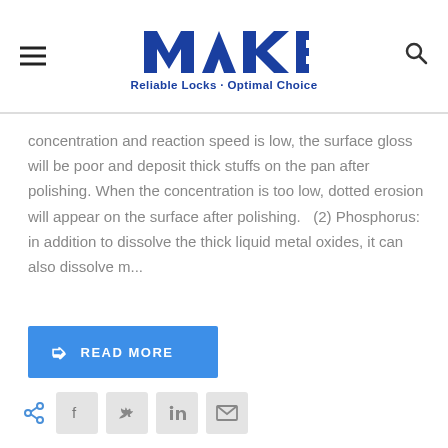MAKE — Reliable Locks · Optimal Choice
concentration and reaction speed is low, the surface gloss will be poor and deposit thick stuffs on the pan after polishing. When the concentration is too low, dotted erosion will appear on the surface after polishing.   (2) Phosphorus: in addition to dissolve the thick liquid metal oxides, it can also dissolve m...
READ MORE
[Figure (other): Social share icons row: share icon, Facebook, Twitter, LinkedIn, Email]